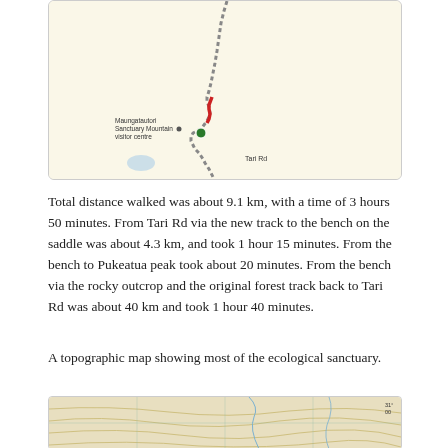[Figure (map): Topographic/route map showing a winding track with a red segment near Maungatautari Sanctuary Mountain visitor centre and Tari Rd label]
Total distance walked was about 9.1 km, with a time of 3 hours 50 minutes. From Tari Rd via the new track to the bench on the saddle was about 4.3 km, and took 1 hour 15 minutes. From the bench to Pukeatua peak took about 20 minutes. From the bench via the rocky outcrop and the original forest track back to Tari Rd was about 40 km and took 1 hour 40 minutes.
A topographic map showing most of the ecological sanctuary.
[Figure (map): Topographic map showing most of the ecological sanctuary area with contour lines and grid]